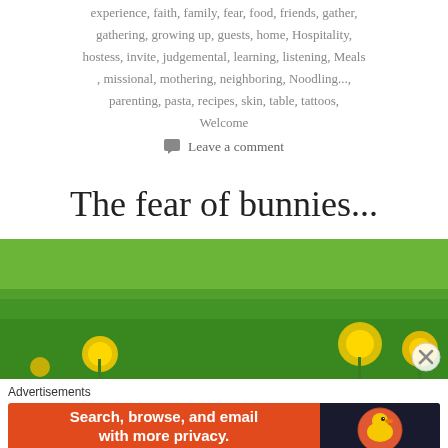experience, faith, family, fear, food, friends, gather, gathering, growing up, guests, home, Hospitality, hostess, invite, judgemental, learning, listening, Meals, missional, mothering, neighboring, Noodling..., parenting, pasta, recipes, skin, table, tattoos, Welcome
Leave a comment
The fear of bunnies...
[Figure (photo): Wide photo of a green meadow with yellow dandelion flowers]
Advertisements
[Figure (screenshot): DuckDuckGo advertisement banner: 'Search, browse, and email with more privacy. All in One Free App' with DuckDuckGo duck logo on dark background]